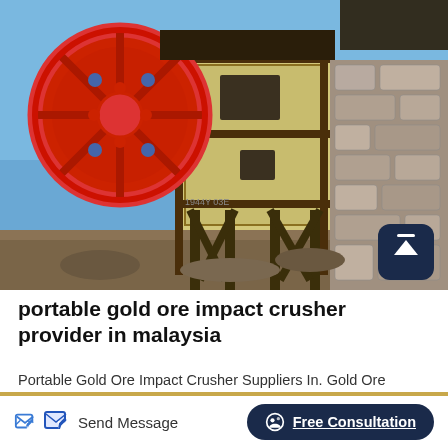[Figure (photo): Industrial portable jaw/impact crusher machine with a large red and grey flywheel on the left side, yellow metal body, mounted on a steel frame with legs, set outdoors against a stone wall background and blue sky. A scroll-to-top button is overlaid in the bottom-right corner of the image.]
portable gold ore impact crusher provider in malaysia
Portable Gold Ore Impact Crusher Suppliers In. Gold Ore Portable Crusher Supplier mute-entertainment.de. Gold Ore Portable Crusher Supplier; Crusher limestone impact crusher plant in